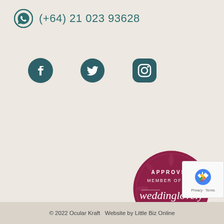(+64) 21 023 93628
[Figure (infographic): Social media icons: Facebook, Twitter, Instagram in teal/dark teal color]
[Figure (logo): Approved Member of the weddinglovely Vendor Guide badge - circular dark red/maroon badge with white text]
[Figure (other): reCAPTCHA widget box with Privacy and Terms text]
© 2022 Ocular Kraft   Website by Little Biz Online